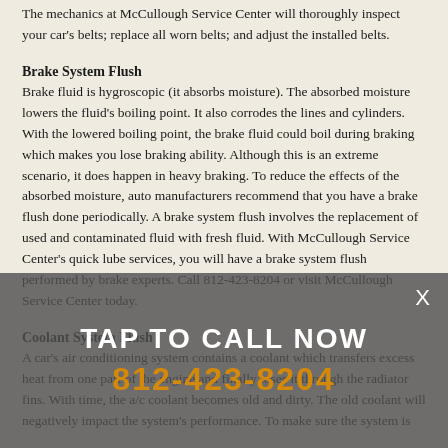The mechanics at McCullough Service Center will thoroughly inspect your car's belts; replace all worn belts; and adjust the installed belts.
Brake System Flush
Brake fluid is hygroscopic (it absorbs moisture). The absorbed moisture lowers the fluid's boiling point. It also corrodes the lines and cylinders. With the lowered boiling point, the brake fluid could boil during braking which makes you lose braking ability. Although this is an extreme scenario, it does happen in heavy braking. To reduce the effects of the absorbed moisture, auto manufacturers recommend that you have a brake flush done periodically. A brake system flush involves the replacement of used and contaminated fluid with fresh fluid. With McCullough Service Center's quick lube services, you will have a brake system flush performed by brake experts. Call 812-423-8204 or visit McCullough Service Center today.
Coolant System Flush
A car's air conditioning system contains a coolant which transfers excess heat from one part of the engine and finally loses it through the radiator fins. With time, the a/c coolant becomes old and dirty. The old coolant will negatively impact the system's performance. To make sure the system is
[Figure (other): Tap to call overlay with phone number 812-423-8204 and close X button]